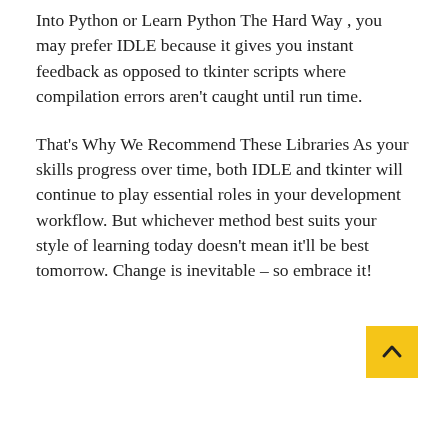Into Python or Learn Python The Hard Way , you may prefer IDLE because it gives you instant feedback as opposed to tkinter scripts where compilation errors aren't caught until run time.
That's Why We Recommend These Libraries As your skills progress over time, both IDLE and tkinter will continue to play essential roles in your development workflow. But whichever method best suits your style of learning today doesn't mean it'll be best tomorrow. Change is inevitable – so embrace it!